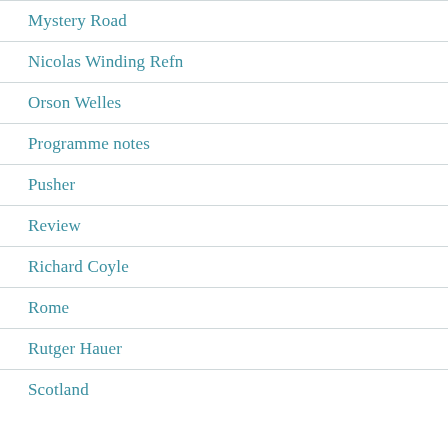Mystery Road
Nicolas Winding Refn
Orson Welles
Programme notes
Pusher
Review
Richard Coyle
Rome
Rutger Hauer
Scotland